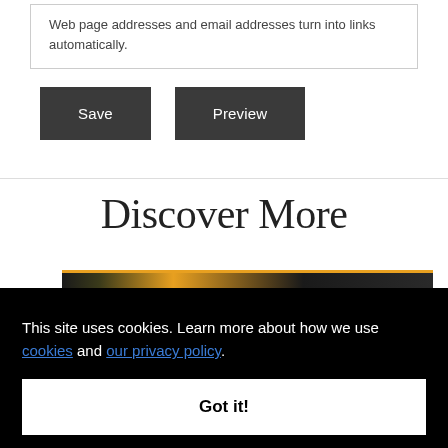Web page addresses and email addresses turn into links automatically.
Save
Preview
Discover More
This site uses cookies. Learn more about how we use cookies and our privacy policy.
Got it!